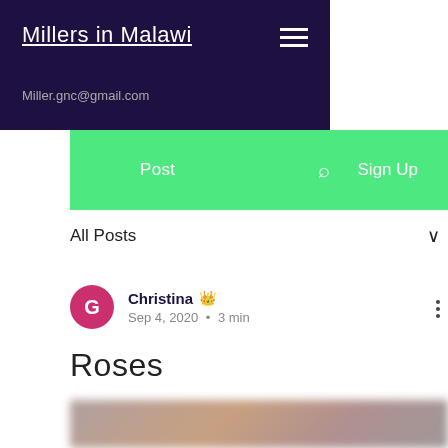Millers in Malawi
Miller.gnc@gmail.com
Post  Sign Up
All Posts
Christina  Sep 4, 2020  •  3 min
Roses
[Figure (photo): Blurred image at bottom of post card]